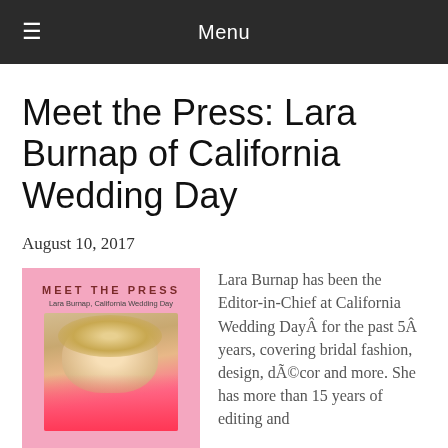Menu
Meet the Press: Lara Burnap of California Wedding Day
August 10, 2017
[Figure (photo): Meet the Press graphic with pink background featuring Lara Burnap, California Wedding Day, with a photo of a blonde woman smiling in a pink top]
Lara Burnap has been the Editor-in-Chief at California Wedding DayÂ for the past 5Â years, covering bridal fashion, design, dÃ©cor and more. She has more than 15 years of editing and publishing experience. She has covered celebrity